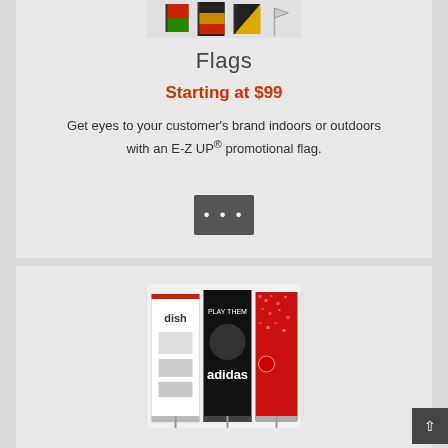[Figure (photo): Photo of promotional flags displayed indoors/outdoors]
Flags
Starting at $99
Get eyes to your customer's brand indoors or outdoors with an E-Z UP® promotional flag.
[Figure (other): More options button with three dots]
[Figure (photo): Photo of retractable banner stands including Dish, Adidas, and a red sparkle banner]